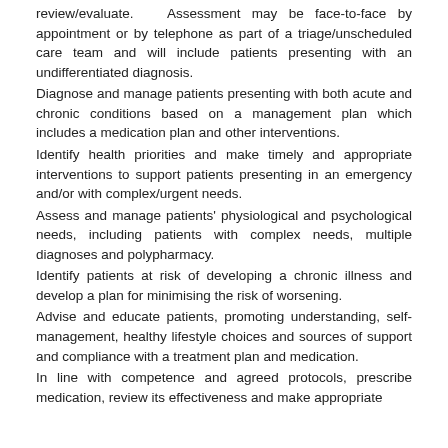review/evaluate. Assessment may be face-to-face by appointment or by telephone as part of a triage/unscheduled care team and will include patients presenting with an undifferentiated diagnosis.
Diagnose and manage patients presenting with both acute and chronic conditions based on a management plan which includes a medication plan and other interventions.
Identify health priorities and make timely and appropriate interventions to support patients presenting in an emergency and/or with complex/urgent needs.
Assess and manage patients' physiological and psychological needs, including patients with complex needs, multiple diagnoses and polypharmacy.
Identify patients at risk of developing a chronic illness and develop a plan for minimising the risk of worsening.
Advise and educate patients, promoting understanding, self-management, healthy lifestyle choices and sources of support and compliance with a treatment plan and medication.
In line with competence and agreed protocols, prescribe medication, review its effectiveness and make appropriate